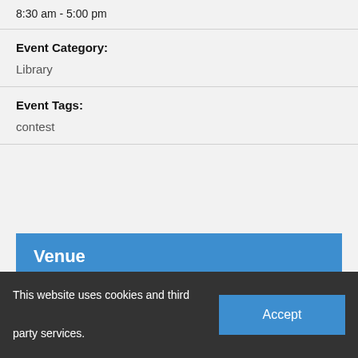8:30 am - 5:00 pm
Event Category:
Library
Event Tags:
contest
Venue
Online
This website uses cookies and third party services.